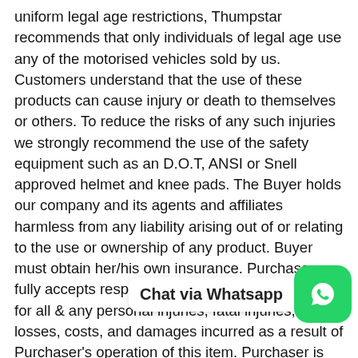uniform legal age restrictions, Thumpstar recommends that only individuals of legal age use any of the motorised vehicles sold by us. Customers understand that the use of these products can cause injury or death to themselves or others. To reduce the risks of any such injuries we strongly recommend the use of the safety equipment such as an D.O.T, ANSI or Snell approved helmet and knee pads. The Buyer holds our company and its agents and affiliates harmless from any liability arising out of or relating to the use or ownership of any product. Buyer must obtain her/his own insurance. Purchaser fully accepts responsibility & releases the seller for all & any personal injuries, fatal injuries, any losses, costs, and damages incurred as a result of Purchaser's operation of this item. Purchaser is solely responsible when permitti[ng others to use the product] and assumes all responsibility in event of damages, injuries or fatal injuries etc. Purchaser is responsible for understanding and obeying all local and state laws for operation of this product. Once purchaser submits payment this will serve as purchaser agreement to
[Figure (other): Chat via Whatsapp button overlay with WhatsApp green icon]